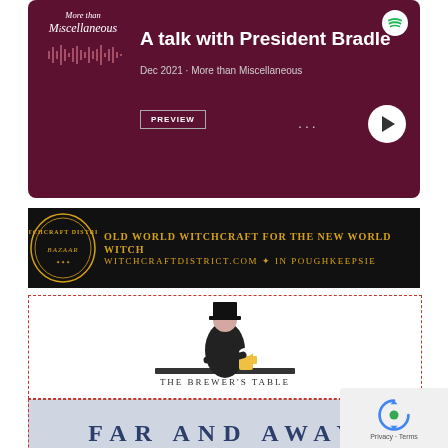[Figure (screenshot): Spotify podcast card for 'A talk with President Bradle' from Dec 2021, More than Miscellaneous podcast, dark maroon background with preview button and play button]
[Figure (screenshot): Witchcraft District Bazaar banner ad: 'Old World Witchcraft for the New World Witch – WitchcraftDistrict.com & In Poughkeepsie' on black background with gold ornate text]
[Figure (logo): The Brewer's Table logo: illustrated figure in top hat holding a beer mug, standing behind a bar, with text 'The Brewer's Table' below]
[Figure (screenshot): Far and Away banner: light blue-gray background with postmark/stamp decoration, title 'FAR AND AWAY' in large blue serif letters, subtitle 'STORIES FROM AROUND THE WORLD BY THE MISCELLANY NEWS']